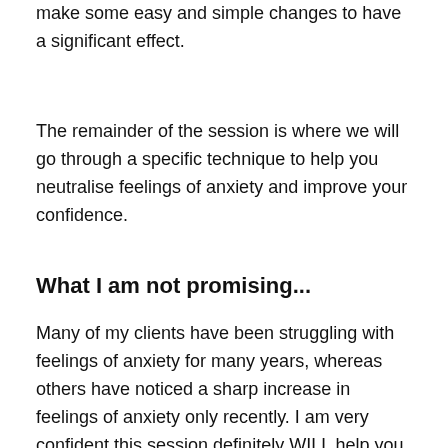make some easy and simple changes to have a significant effect.
The remainder of the session is where we will go through a specific technique to help you neutralise feelings of anxiety and improve your confidence.
What I am not promising...
Many of my clients have been struggling with feelings of anxiety for many years, whereas others have noticed a sharp increase in feelings of anxiety only recently. I am very confident this session definitely WILL help you change the way you think. This in turn can change the way you